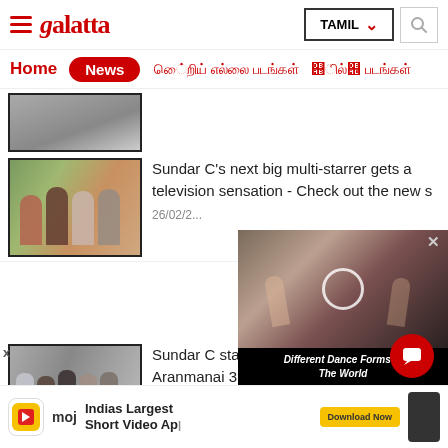Galatta - TAMIL
Home  News
[Figure (photo): Partially visible news article thumbnail at top]
Sundar C's next big multi-starrer gets a television sensation - Check out the new s
26/02/2...
[Figure (photo): Group photo of four people smiling outdoors, news thumbnail]
[Figure (screenshot): Video overlay showing dancers with title 'Different Dance Forms In The World']
Sundar C starts his new film after Aranmanai 3 and it is a multistarrer with
[Figure (photo): Group photo of five men, news thumbnail for second article]
[Figure (photo): Advertisement banner: moj - Indias Largest Short Video App]
Indias Largest Short Video App